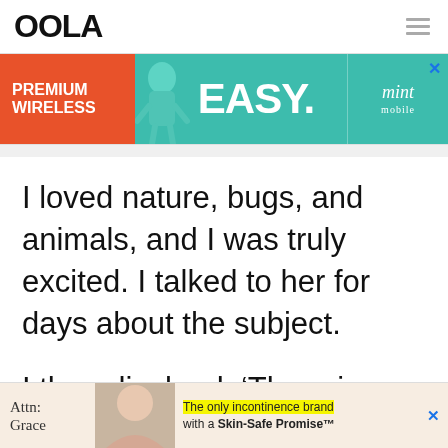OOLA
[Figure (infographic): Advertisement banner for Mint Mobile: orange left panel with 'PREMIUM WIRELESS', teal center with cartoon figure and 'EASY.', teal right with 'mint mobile' logo]
I loved nature, bugs, and animals, and I was truly excited. I talked to her for days about the subject.
I then divulged, ‘There is a spider nest super close to the building. I
[Figure (infographic): Advertisement banner: 'Attn: Grace' text on left, image of hands on chest in center, right text reads 'The only incontinence brand with a Skin-Safe Promise™']